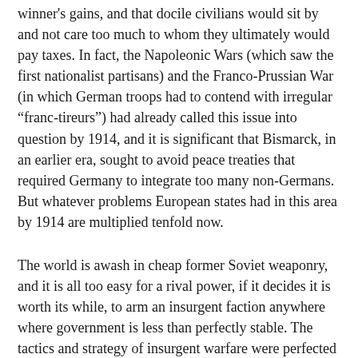winner's gains, and that docile civilians would sit by and not care too much to whom they ultimately would pay taxes. In fact, the Napoleonic Wars (which saw the first nationalist partisans) and the Franco-Prussian War (in which German troops had to contend with irregular “franc-tireurs”) had already called this issue into question by 1914, and it is significant that Bismarck, in an earlier era, sought to avoid peace treaties that required Germany to integrate too many non-Germans. But whatever problems European states had in this area by 1914 are multiplied tenfold now.
The world is awash in cheap former Soviet weaponry, and it is all too easy for a rival power, if it decides it is worth its while, to arm an insurgent faction anywhere where government is less than perfectly stable. The tactics and strategy of insurgent warfare were perfected in the wake of World War Two by Mao Zedong, Ho Chi Minh and Vo Nguyen Giap, the Algerian FLN, and others; mass-casualty terrorism was perfected by Al Qaeda. As Thomas Homer wrote in The Sling And The St...